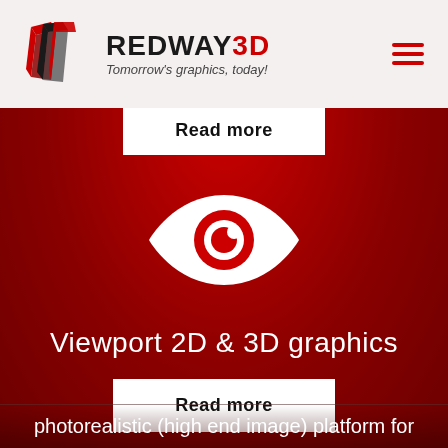REDWAY3D — Tomorrow's graphics, today!
Read more
[Figure (illustration): White eye icon with red pupil/iris on red background]
Viewport 2D & 3D graphics
Read more
photorealistic (high end image) platform for